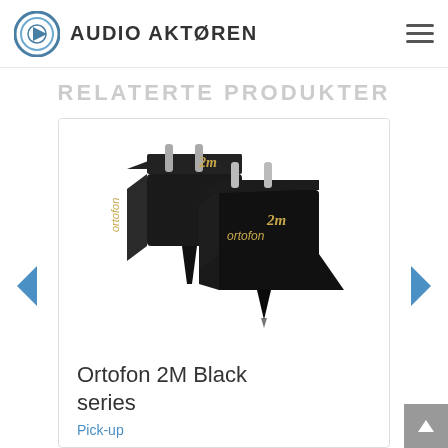AUDIO AKTØREN
RELATERTE PRODUKTER
[Figure (photo): Two Ortofon 2M Black series phono cartridges shown side by side, black body with gold lettering and metallic mounting bolts, on white background]
Ortofon 2M Black series
Pick-up
kr 0.00